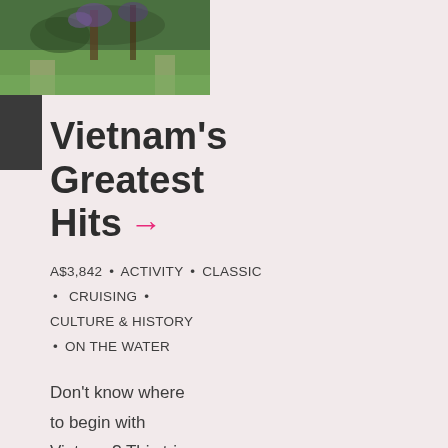[Figure (photo): Outdoor photo showing people near trees with purple flowers and green grass]
Vietnam's Greatest Hits →
A$3,842 • ACTIVITY • CLASSIC • CRUISING • CULTURE & HISTORY • ON THE WATER
Don't know where to begin with Vietnam? This trip combines cultural, scenic and historical